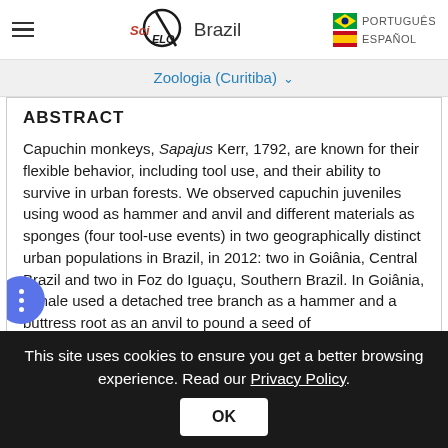SciELO Brazil | PORTUGUÊS | ESPAÑOL
Zoologia (Curitiba) ↓
ABSTRACT
Capuchin monkeys, Sapajus Kerr, 1792, are known for their flexible behavior, including tool use, and their ability to survive in urban forests. We observed capuchin juveniles using wood as hammer and anvil and different materials as sponges (four tool-use events) in two geographically distinct urban populations in Brazil, in 2012: two in Goiânia, Central Brazil and two in Foz do Iguaçu, Southern Brazil. In Goiânia, a male used a detached tree branch as a hammer and a buttress root as an anvil to pound a seed of
This site uses cookies to ensure you get a better browsing experience. Read our Privacy Policy.